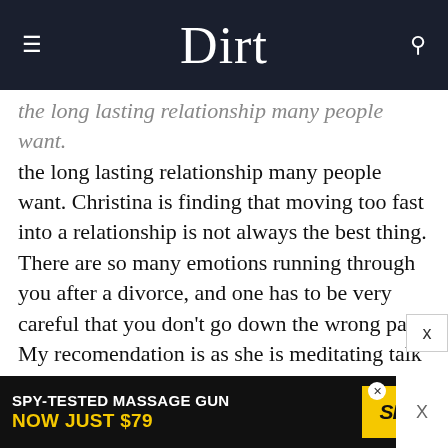Dirt
the long lasting relationship many people want. Christina is finding that moving too fast into a relationship is not always the best thing. There are so many emotions running through you after a divorce, and one has to be very careful that you don't go down the wrong path. My recomendation is as she is meditating talk to God and ask him to send you the right one. There will be a few around, but there will probably be one that is a better match than others. Ask God to send you that one, and listen to what G
[Figure (screenshot): Advertisement banner: SPY-TESTED MASSAGE GUN NOW JUST $79 with SPY logo in yellow on black background]